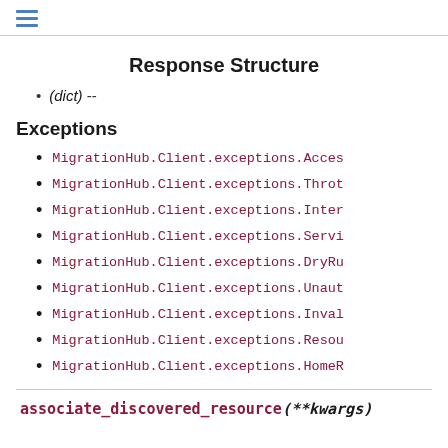≡
Response Structure
(dict) --
Exceptions
MigrationHub.Client.exceptions.Acces…
MigrationHub.Client.exceptions.Throt…
MigrationHub.Client.exceptions.Inter…
MigrationHub.Client.exceptions.Servi…
MigrationHub.Client.exceptions.DryRu…
MigrationHub.Client.exceptions.Unaut…
MigrationHub.Client.exceptions.Inval…
MigrationHub.Client.exceptions.Resou…
MigrationHub.Client.exceptions.HomeR…
associate_discovered_resource (**kwargs)